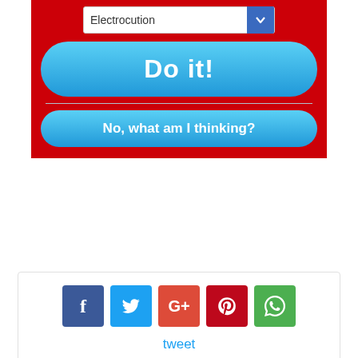[Figure (screenshot): Mobile app screenshot showing a dropdown with 'Electrocution', a blue 'Do it!' button, and a 'No, what am I thinking?' button on a red background]
[Figure (infographic): Social share bar with Facebook, Twitter, Google+, Pinterest, and WhatsApp icons, and a 'tweet' link below]
Previous article
Next article
Install LAMP Server (Apache, MariaDB, and PHP) On openSUSE 13.2/13.1
How To Automatically Disable Touchpad While Typing On Ubuntu